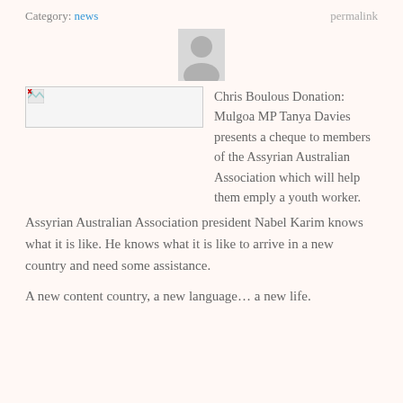Category: news    permalink
[Figure (photo): Generic avatar/profile image placeholder (grey silhouette)]
[Figure (photo): Broken/missing image placeholder on left side]
Chris Boulous Donation: Mulgoa MP Tanya Davies presents a cheque to members of the Assyrian Australian Association which will help them emply a youth worker.
Assyrian Australian Association president Nabel Karim knows what it is like. He knows what it is like to arrive in a new country and need some assistance.
A new content country, a new language… a new life.